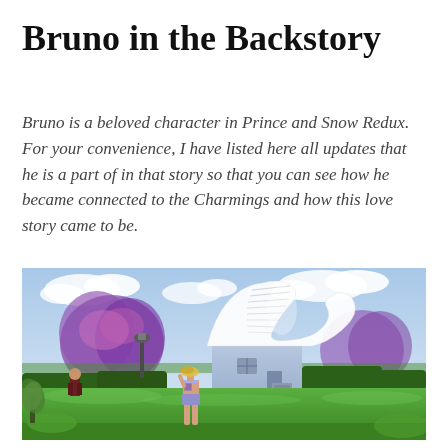Bruno in the Backstory
Bruno is a beloved character in Prince and Snow Redux.  For your convenience, I have listed here all updates that he is a part of in that story so that you can see how he became connected to the Charmings and how this love story came to be.
[Figure (screenshot): A screenshot from The Sims 4 video game showing a blonde female character in a bikini standing on green grass, looking toward a blue house with a distinctive curved white roof shaped like an open book or scroll. Purple flowering trees are visible in the background along with hedges, lamp posts, and cloudy sky. Another character in dark clothing is visible on the left side.]